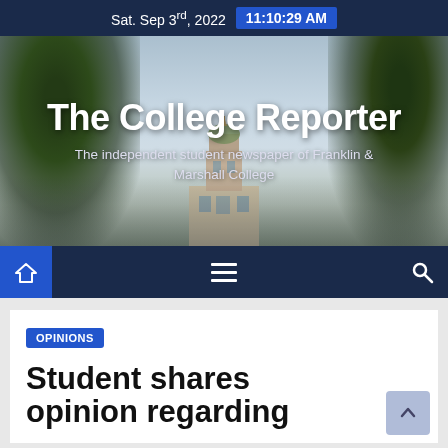Sat. Sep 3rd, 2022  11:10:29 AM
[Figure (photo): Hero banner photo of The College Reporter website showing a college building with a clock tower surrounded by trees. White bold text reads 'The College Reporter' with subtitle 'The independent student newspaper of Franklin & Marshall College']
The College Reporter
The independent student newspaper of Franklin & Marshall College
[Figure (screenshot): Navigation bar with home icon button (blue highlight), hamburger menu icon, and search icon on dark navy background]
OPINIONS
Student shares opinion regarding